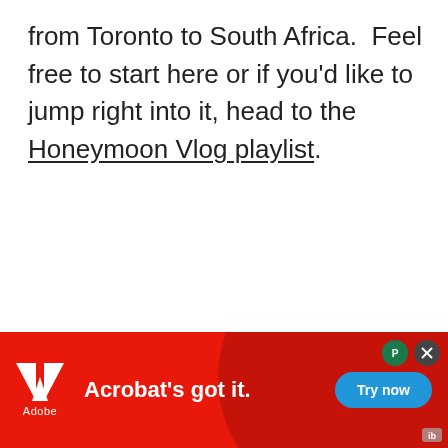from Toronto to South Africa. Feel free to start here or if you'd like to jump right into it, head to the Honeymoon Vlog playlist.
[Figure (infographic): Adobe advertisement banner with red background, Adobe logo, tagline 'Acrobat's got it.', and a 'Try now' button in blue.]